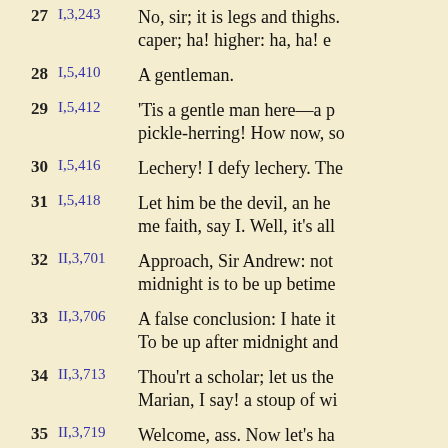| # | Ref | Text |
| --- | --- | --- |
| 27 | I,3,243 | No, sir; it is legs and thighs. Let me see thee caper; ha! higher: ha, ha! e |
| 28 | I,5,410 | A gentleman. |
| 29 | I,5,412 | 'Tis a gentle man here—a p pickle-herring! How now, so |
| 30 | I,5,416 | Lechery! I defy lechery. The |
| 31 | I,5,418 | Let him be the devil, an he me faith, say I. Well, it's all |
| 32 | II,3,701 | Approach, Sir Andrew: not midnight is to be up betime |
| 33 | II,3,706 | A false conclusion: I hate it To be up after midnight and |
| 34 | II,3,713 | Thou'rt a scholar; let us the Marian, I say! a stoup of wi |
| 35 | II,3,719 | Welcome, ass. Now let's ha |
| 36 | II,3,733 | Come on; there is sixpence |